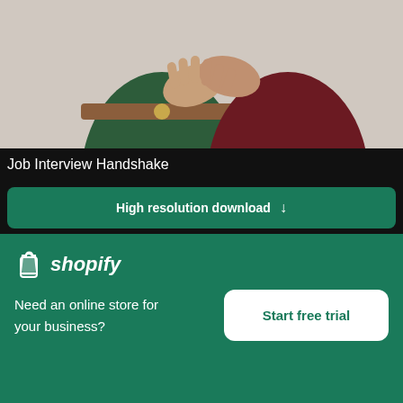[Figure (photo): Job interview handshake photo showing two people shaking hands, one wearing a green top with brown belt]
Job Interview Handshake
High resolution download ↓
[Figure (photo): Blurred Christmas holiday scene with red decoration and green tree in background]
[Figure (logo): Shopify logo — bag icon and italic shopify wordmark in white on green background]
Need an online store for your business?
Start free trial